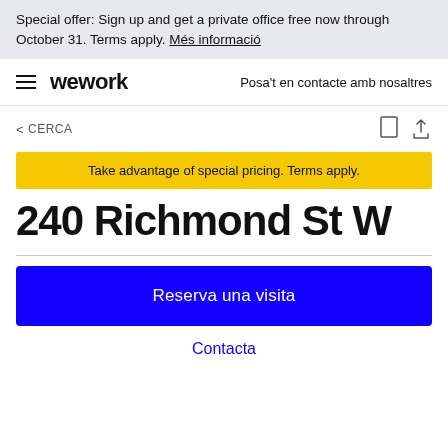Special offer: Sign up and get a private office free now through October 31. Terms apply. Més informació
wework — Posa't en contacte amb nosaltres
< CERCA
Take advantage of special pricing. Terms apply.
240 Richmond St W
Reserva una visita
Contacta